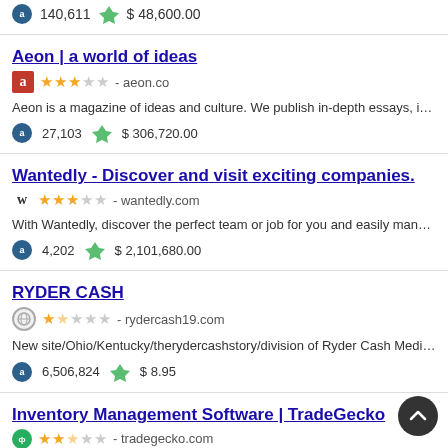140,611   $ 48,600.00
Aeon | a world of ideas - aeon.co
Aeon is a magazine of ideas and culture. We publish in-depth essays, incisive curated videos — free to all.
27,103   $ 306,720.00
Wantedly - Discover and visit exciting companies. - wantedly.com
With Wantedly, discover the perfect team or job for you and easily manage you
4,202   $ 2,101,680.00
RYDER CASH - rydercash19.com
New site/Ohio/Kentucky/therydercashstory/division of Ryder Cash Media llc
6,506,824   $ 8.95
Inventory Management Software | TradeGecko - tradegecko.com